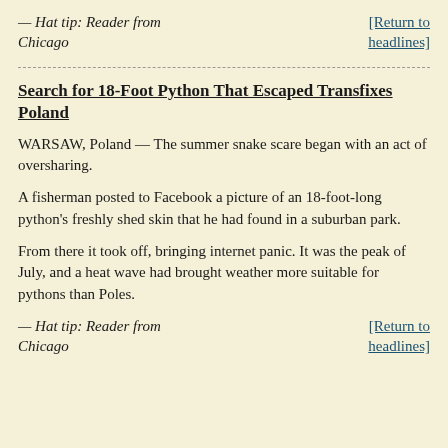— Hat tip: Reader from Chicago
[Return to headlines]
Search for 18-Foot Python That Escaped Transfixes Poland
WARSAW, Poland — The summer snake scare began with an act of oversharing.
A fisherman posted to Facebook a picture of an 18-foot-long python's freshly shed skin that he had found in a suburban park.
From there it took off, bringing internet panic. It was the peak of July, and a heat wave had brought weather more suitable for pythons than Poles.
— Hat tip: Reader from Chicago
[Return to headlines]